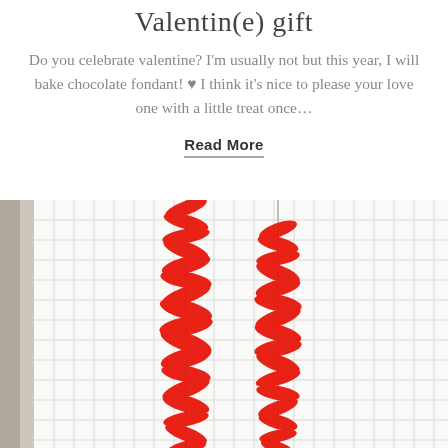Valentin(e) gift
Do you celebrate valentine? I'm usually not but this year, I will bake chocolate fondant! ♥ I think it's nice to please your love one with a little treat once…
Read More
[Figure (photo): Two red bead necklaces hanging against a white grid background with a dark vertical element on the left side.]